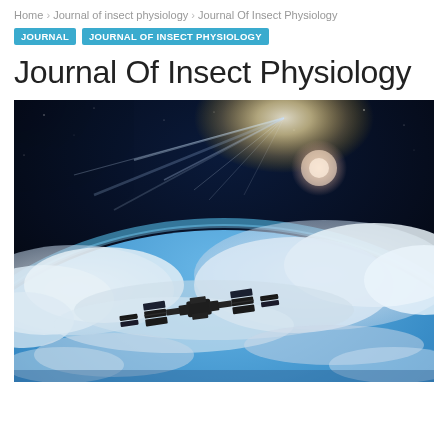Home > Journal of insect physiology > Journal Of Insect Physiology
JOURNAL   JOURNAL OF INSECT PHYSIOLOGY
Journal Of Insect Physiology
[Figure (photo): Photograph of a space station orbiting above Earth, viewed from space. Earth's curved horizon with blue atmosphere is visible, with bright sunlight and lens flare in the upper portion. Dense cloud formations are visible over the ocean below. A space station with solar panels is silhouetted in the lower center of the image against the blue Earth backdrop.]